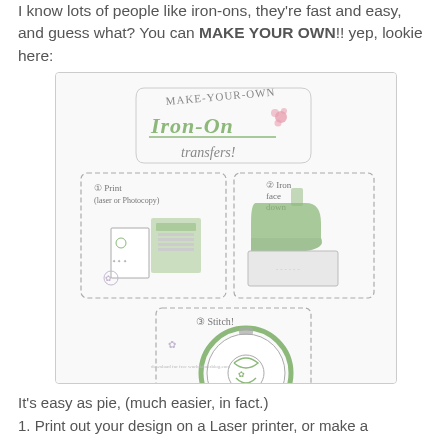I know lots of people like iron-ons, they're fast and easy, and guess what? You can MAKE YOUR OWN!! yep, lookie here:
[Figure (illustration): Hand-drawn illustration showing how to make iron-on transfers in 3 steps: 1) Print (laser or photocopy) showing a printer and paper with design, 2) Iron face down showing an iron pressing paper onto fabric, 3) Stitch! showing a circular embroidery hoop with stitched design. Title reads 'MAKE-YOUR-OWN Iron-On transfers!' with decorative lettering and a small flower. Small text at bottom credits the source.]
It's easy as pie, (much easier, in fact.)
1. Print out your design on a Laser printer, or make a